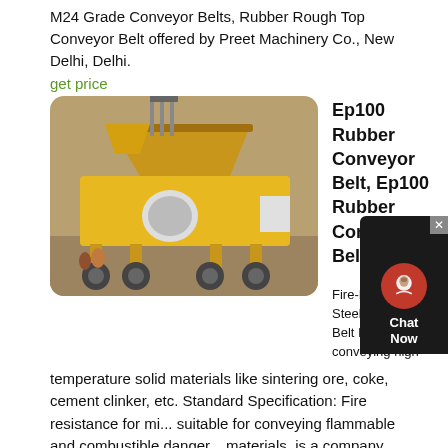M24 Grade Conveyor Belts, Rubber Rough Top Conveyor Belt offered by Preet Machinery Co., New Delhi, Delhi.
get price
[Figure (photo): Yellow heavy construction/mining machine (crushing/screening plant) on a trailer in a desert/quarry setting]
Ep100 Rubber Conveyor Belt, Ep100 Rubber Conveyor Belt
Fire-Resistance Steel Cord Conveyor Belt It is suitable for conveying high temperature solid materials like sintering ore, coke, cement clinker, etc. Standard Specification: Fire resistance for mining, suitable for conveying flammable and combustible dangerous materials. is a company engaged in the R&D, production and sales of all kinds of rubber conveyer belts.
get price
[Figure (photo): Industrial conveyor belt / machinery equipment in dark orange/black tones]
Automatic And Expandable Pvc